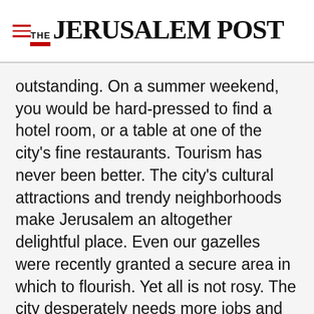THE JERUSALEM POST
outstanding. On a summer weekend, you would be hard-pressed to find a hotel room, or a table at one of the city's fine restaurants. Tourism has never been better. The city's cultural attractions and trendy neighborhoods make Jerusalem an altogether delightful place. Even our gazelles were recently granted a secure area in which to flourish. Yet all is not rosy. The city desperately needs more jobs and affordable middle-class
Advertisement